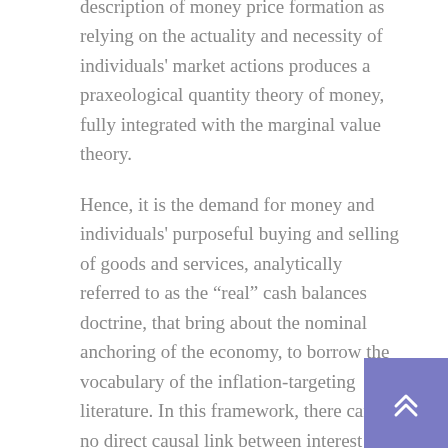description of money price formation as relying on the actuality and necessity of individuals' market actions produces a praxeological quantity theory of money, fully integrated with the marginal value theory.
Hence, it is the demand for money and individuals' purposeful buying and selling of goods and services, analytically referred to as the “real” cash balances doctrine, that bring about the nominal anchoring of the economy, to borrow the vocabulary of the inflation-targeting literature. In this framework, there can be no direct causal link between interest rates and inflation. If a relationship exists between these two variables, it is the money relation itself that brings it about. Knut Wicksell's attempt to